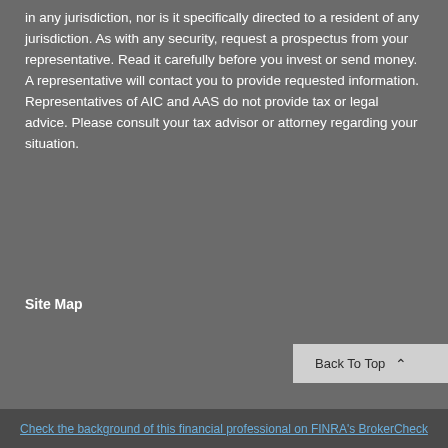in any jurisdiction, nor is it specifically directed to a resident of any jurisdiction. As with any security, request a prospectus from your representative. Read it carefully before you invest or send money. A representative will contact you to provide requested information. Representatives of AIC and AAS do not provide tax or legal advice. Please consult your tax advisor or attorney regarding your situation.
Site Map
Back To Top
Check the background of this financial professional on FINRA's BrokerCheck